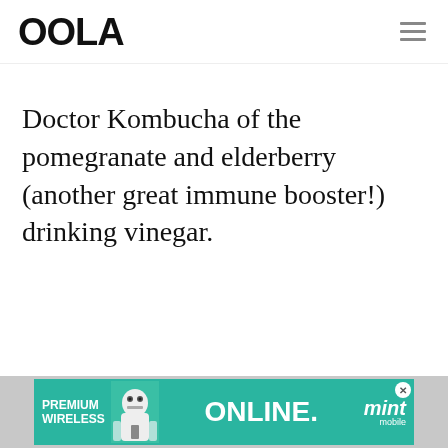OOLA
Doctor Kombucha of the pomegranate and elderberry (another great immune booster!) drinking vinegar.
- ADVERTISEMENT - CONTINUE READING BELOW -
[Figure (infographic): Advertisement banner: Premium Wireless Online. Mint Mobile ad with teal background, cartoon character, close button.]